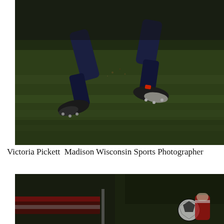[Figure (photo): Close-up of a soccer player's legs mid-stride on a grass field, wearing dark cleats and dark socks/shorts, with green turf background.]
Victoria Pickett  Madison Wisconsin Sports Photographer
[Figure (photo): A dark, blurred outdoor photo of a soccer scene with a ball visible on the right side and a blurred red and white banner/flag; dark foliage background.]